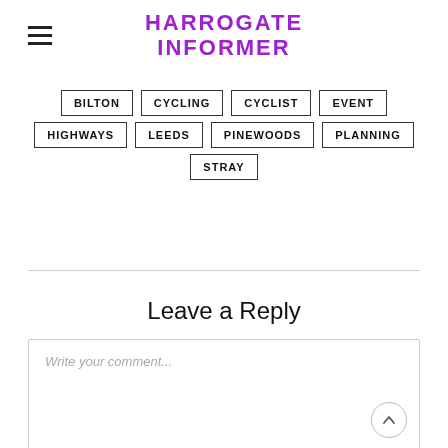HARROGATE INFORMER
BILTON
CYCLING
CYCLIST
EVENT
HIGHWAYS
LEEDS
PINEWOODS
PLANNING
STRAY
Leave a Reply
Write your comment...